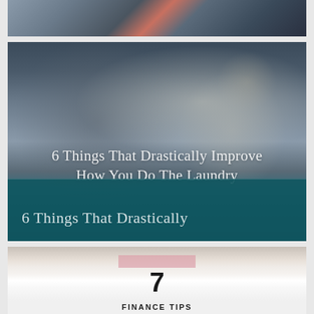[Figure (photo): Top strip of a photo showing a sunset or outdoor scene with dark water/landscape and reddish sky tones]
[Figure (photo): Photo of laundry in a washing machine drum with clothes/towels visible. Overlaid text reads '6 Things That Drastically Improve How You Do The Laundry' in white. Bottom teal strip shows '6 Things That Drastically' in lighter text.]
6 Things That Drastically Improve How You Do The Laundry
[Figure (photo): Photo showing a hand holding a white card with pink tape at top, number '7' printed large, and partial text 'FINANCE TIPS' at the bottom]